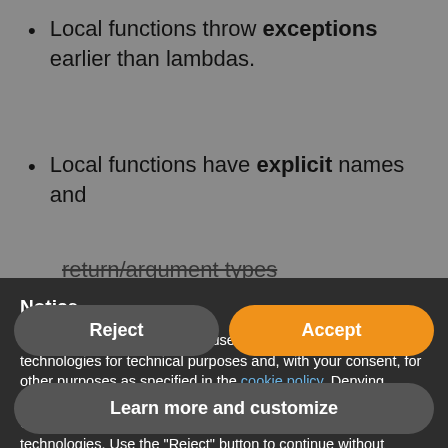Local functions throw exceptions earlier than lambdas.
Local functions have explicit names and return/argument types
Notice
We and selected third parties use cookies or similar technologies for technical purposes and, with your consent, for other purposes as specified in the cookie policy. Denying consent may make related features unavailable.
Use the "Accept" button to consent to the use of such technologies. Use the "Reject" button to continue without accepting.
Reject
Accept
Learn more and customize